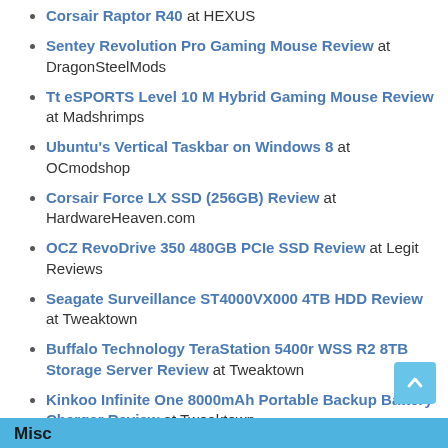Corsair Raptor R40 at HEXUS
Sentey Revolution Pro Gaming Mouse Review at DragonSteelMods
Tt eSPORTS Level 10 M Hybrid Gaming Mouse Review at Madshrimps
Ubuntu's Vertical Taskbar on Windows 8 at OCmodshop
Corsair Force LX SSD (256GB) Review at HardwareHeaven.com
OCZ RevoDrive 350 480GB PCIe SSD Review at Legit Reviews
Seagate Surveillance ST4000VX000 4TB HDD Review at Tweaktown
Buffalo Technology TeraStation 5400r WSS R2 8TB Storage Server Review at Tweaktown
Kinkoo Infinite One 8000mAh Portable Backup Battery Charger Review at Tweaktown
Misc